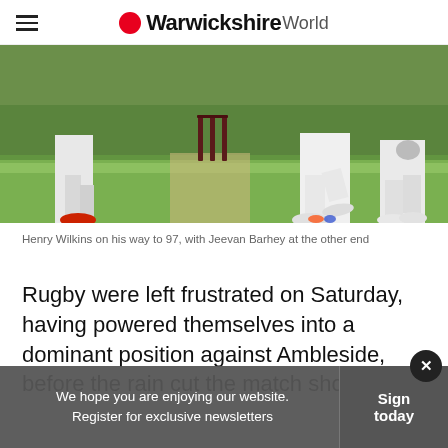Warwickshire World
[Figure (photo): Cricket players on a pitch with stumps visible. Players wearing white cricket gear.]
Henry Wilkins on his way to 97, with Jeevan Barhey at the other end
Rugby were left frustrated on Saturday, having powered themselves into a dominant position against Ambleside, before the rain cut the match short.
We hope you are enjoying our website. Register for exclusive newsletters | Sign today